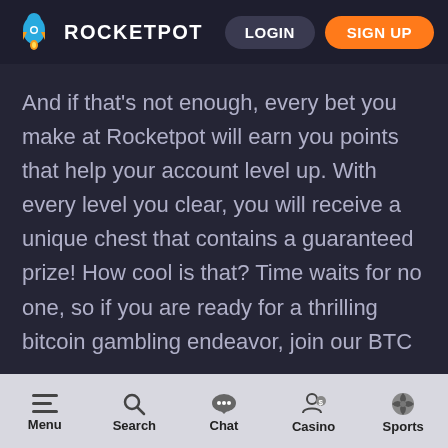ROCKETPOT  LOGIN  SIGN UP
And if that's not enough, every bet you make at Rocketpot will earn you points that help your account level up. With every level you clear, you will receive a unique chest that contains a guaranteed prize! How cool is that? Time waits for no one, so if you are ready for a thrilling bitcoin gambling endeavor, join our BTC
Menu  Search  Chat  Casino  Sports